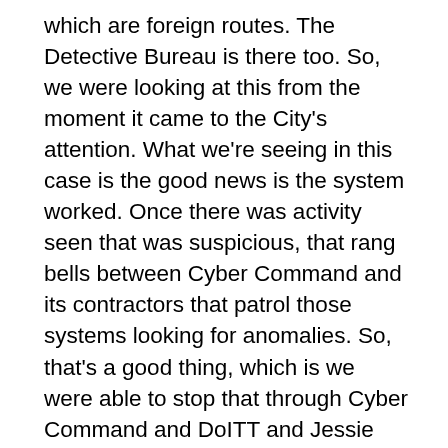which are foreign routes. The Detective Bureau is there too. So, we were looking at this from the moment it came to the City's attention. What we're seeing in this case is the good news is the system worked. Once there was activity seen that was suspicious, that rang bells between Cyber Command and its contractors that patrol those systems looking for anomalies. So, that's a good thing, which is we were able to stop that through Cyber Command and DoITT and Jessie Tisch's people, Geoff Brown's people. And disconnected from the system to make sure while we assessed what was in there, didn't get out to other systems. So, that's a positive. The investigative piece is now all about the forensics, which is looking at the malware, seeing where it's been seen before. We've identified the malware. We have seen it before. And then tracing that to the actor. Is it someone looking to corral information, export it, and then do a ransomware attack? That's a possibility. Is it another kind of actor looking to gather information for other strategic purposes? That's a possibility. We're still early in the forensics piece and that's being worked between Geoff